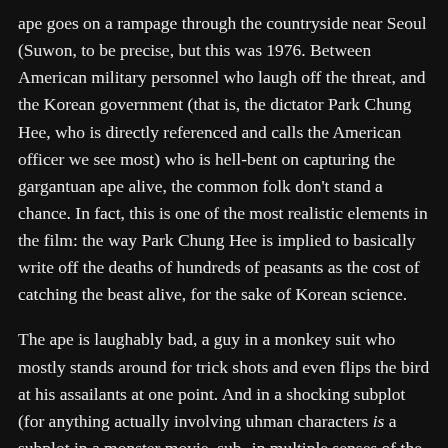ape goes on a rampage through the countryside near Seoul (Suwon, to be precise, but this was 1976. Between American military personnel who laugh off the threat, and the Korean government (that is, the dictator Park Chung Hee, who is directly referenced and calls the American officer we see most) who is hell-bent on capturing the gargantuan ape alive, the common folk don't stand a chance. In fact, this is one of the most realistic elements in the film: the way Park Chung Hee is implied to basically write off the deaths of hundreds of peasants as the cost of catching the beast alive, for the sake of Korean science.
The ape is laughably bad, a guy in a monkey suit who mostly stands around for trick shots and even flips the bird at his assailants at one point. And in a shocking subplot (for anything actually involving uhman characters is a subplot in a monster movie, sub- in multiple senses of the word), Joanna Kerns